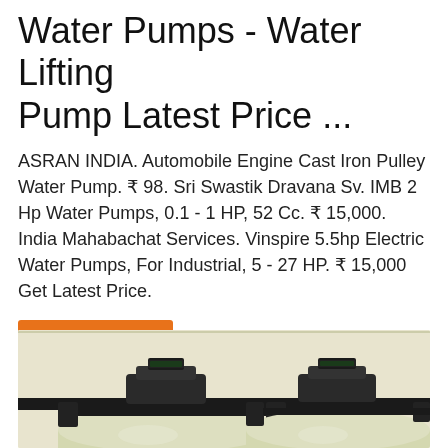Water Pumps - Water Lifting Pump Latest Price ...
ASRAN INDIA. Automobile Engine Cast Iron Pulley Water Pump. ₹ 98. Sri Swastik Dravana Sv. IMB 2 Hp Water Pumps, 0.1 - 1 HP, 52 Cc. ₹ 15,000. India Mahabachat Services. Vinspire 5.5hp Electric Water Pumps, For Industrial, 5 - 27 HP. ₹ 15,000 Get Latest Price.
Get Price
[Figure (photo): Photo of two large industrial water filter/pump vessels with black valve heads and piping on top, light tan/cream colored cylindrical tanks, set against a light background]